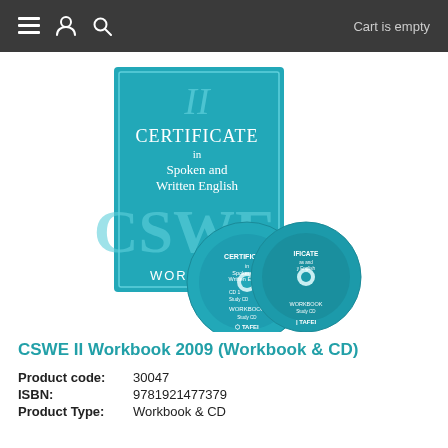Cart is empty
[Figure (photo): Product image showing CSWE II Workbook 2009 cover (teal/blue certificate book titled 'Certificate II in Spoken and Written English CSWE Workbook') with two accompanying CDs labeled TAFE, placed in front of the book.]
CSWE II Workbook 2009 (Workbook & CD)
Product code: 30047
ISBN: 9781921477379
Product Type: Workbook & CD